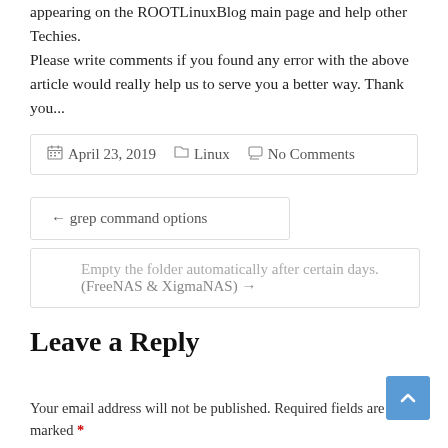appearing on the ROOTLinuxBlog main page and help other Techies.
Please write comments if you found any error with the above article would really help us to serve you a better way. Thank you...
April 23, 2019   Linux   No Comments
← grep command options
Empty the folder automatically after certain days. (FreeNAS & XigmaNAS) →
Leave a Reply
Your email address will not be published. Required fields are marked *